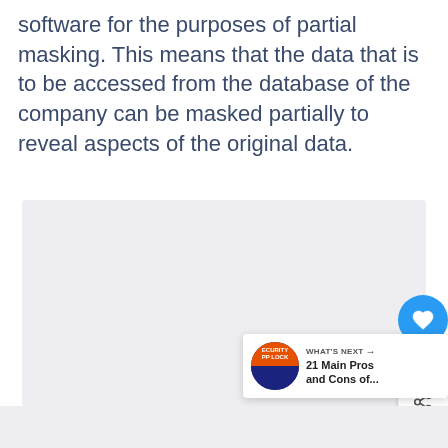software for the purposes of partial masking. This means that the data that is to be accessed from the database of the company can be masked partially to reveal aspects of the original data.
[Figure (screenshot): Web page UI element: a large light gray content area box. On the right edge: a blue circular heart/like button with count '1' below it, and a white circular share button. In the bottom-right corner: a 'WHAT'S NEXT' card showing a thumbnail image labeled 'ECURITY PP LOCK' and text '21 Main Pros and Cons of...']